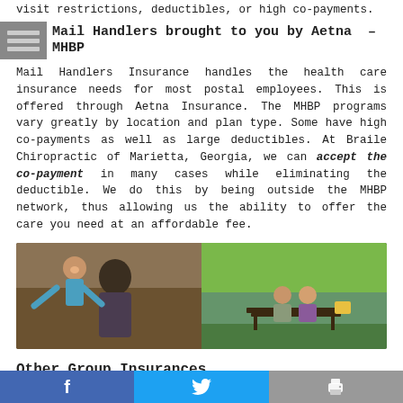visit restrictions, deductibles, or high co-payments.
Mail Handlers brought to you by Aetna – MHBP
Mail Handlers Insurance handles the health care insurance needs for most postal employees. This is offered through Aetna Insurance. The MHBP programs vary greatly by location and plan type. Some have high co-payments as well as large deductibles. At Braile Chiropractic of Marietta, Georgia, we can accept the co-payment in many cases while eliminating the deductible. We do this by being outside the MHBP network, thus allowing us the ability to offer the care you need at an affordable fee.
[Figure (photo): Two photos side by side: left shows a father holding up a young child outdoors with brownish background, right shows a couple sitting on a bench by a lake surrounded by green trees.]
Other Group Insurances
There are many other types of insurance programs that also cover chiropractic care. HMOs, PPOs and other networks may have significantly restrictive coverage for chiropractic. Below is a